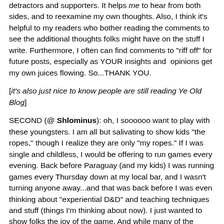detractors and supporters. It helps me to hear from both sides, and to reexamine my own thoughts. Also, I think it's helpful to my readers who bother reading the comments to see the additional thoughts folks might have on the stuff I write. Furthermore, I often can find comments to "riff off" for future posts, especially as YOUR insights and opinions get my own juices flowing. So...THANK YOU.
[it's also just nice to know people are still reading Ye Old Blog]
SECOND (@ Shlominus): oh, I soooooo want to play with these youngsters. I am all but salivating to show kids "the ropes," though I realize they are only "my ropes." If I was single and childless, I would be offering to run games every evening. Back before Paraguay (and my kids) I was running games every Thursday down at my local bar, and I wasn't turning anyone away...and that was back before I was even thinking about "experiential D&D" and teaching techniques and stuff (things I'm thinking about now). I just wanted to show folks the joy of the game. And while many of the players who showed up were Oldsters like myself, there